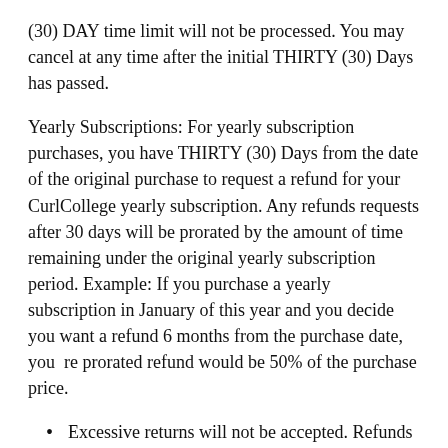(30) DAY time limit will not be processed. You may cancel at any time after the initial THIRTY (30) Days has passed.
Yearly Subscriptions: For yearly subscription purchases, you have THIRTY (30) Days from the date of the original purchase to request a refund for your CurlCollege yearly subscription. Any refunds requests after 30 days will be prorated by the amount of time remaining under the original yearly subscription period. Example: If you purchase a yearly subscription in January of this year and you decide you want a refund 6 months from the purchase date, you  re prorated refund would be 50% of the purchase price.
Excessive returns will not be accepted. Refunds will not be given to any one customer for one specific product more than